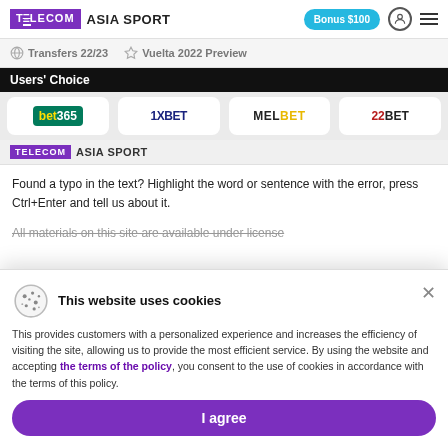TELECOM ASIA SPORT | Bonus $100
Transfers 22/23 | Vuelta 2022 Preview
Users' Choice
[Figure (logo): Bookmaker logos row: bet365, 1XBET, MELBET, 22BET]
[Figure (logo): TELECOM ASIA SPORT repeated logo/watermark]
Found a typo in the text? Highlight the word or sentence with the error, press Ctrl+Enter and tell us about it.
All materials on this site are available under license
This website uses cookies
This provides customers with a personalized experience and increases the efficiency of visiting the site, allowing us to provide the most efficient service. By using the website and accepting the terms of the policy, you consent to the use of cookies in accordance with the terms of this policy.
I agree